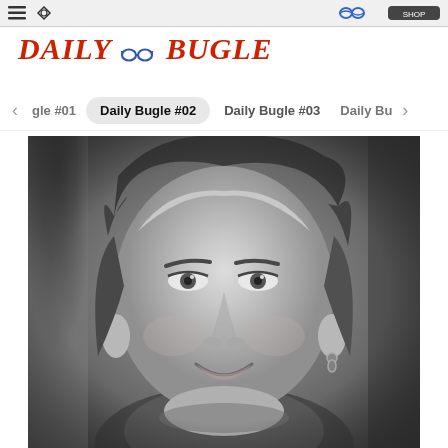navigation bar with icons
DAILY BUGLE
gle #01 | Daily Bugle #02 | Daily Bugle #03 | Daily Bu
[Figure (photo): Black and white portrait photo of a middle-aged woman with short layered hair, looking slightly upward, smiling, wearing a small hoop earring.]